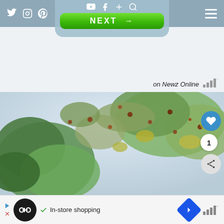[Figure (screenshot): Website navigation bar with social media icons (Twitter, Instagram, Pinterest, YouTube, Facebook, plus, search) and hamburger menu on right. Center dropdown shows a green NEXT button.]
on Newz Online
[Figure (photo): Outdoor photo of tree branches with autumn leaves (green, yellow, orange, red) against a pale sky background. Heart/like button, count circle showing '1', and share button overlaid on right side.]
[Figure (screenshot): Bottom advertisement bar showing a black circle logo with infinity symbol, checkmark, 'In-store shopping' text, blue diamond navigation icon, and weather/signal display.]